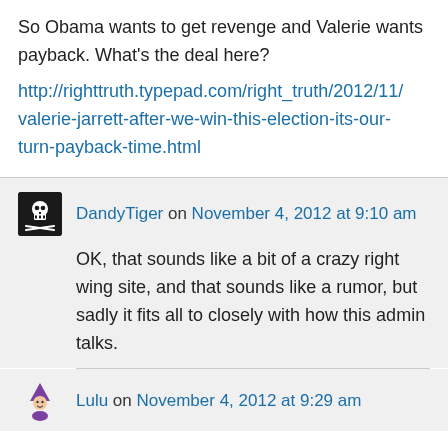So Obama wants to get revenge and Valerie wants payback. What's the deal here?
http://righttruth.typepad.com/right_truth/2012/11/valerie-jarrett-after-we-win-this-election-its-our-turn-payback-time.html
DandyTiger on November 4, 2012 at 9:10 am
OK, that sounds like a bit of a crazy right wing site, and that sounds like a rumor, but sadly it fits all to closely with how this admin talks.
Lulu on November 4, 2012 at 9:29 am